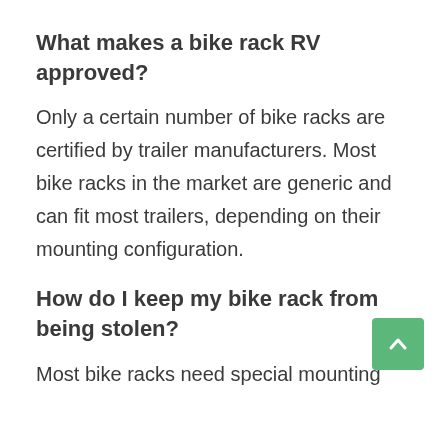What makes a bike rack RV approved?
Only a certain number of bike racks are certified by trailer manufacturers. Most bike racks in the market are generic and can fit most trailers, depending on their mounting configuration.
How do I keep my bike rack from being stolen?
Most bike racks need special mounting